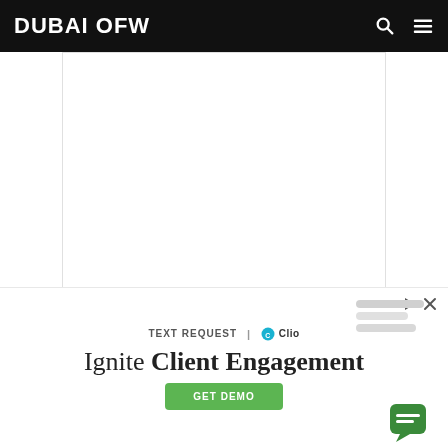DUBAI OFW
[Figure (photo): White blank advertisement space placeholder]
[Figure (photo): Left image: hand holding a small vial/bottle with Arabic text label, store shelf background. Right image: clear plastic bag of UBE POWDER (Elisa brand, 'The Healthiest') with colorful product label.]
[Figure (screenshot): Advertisement banner: TEXT REQUEST | Clio logo - 'Ignite Client Engagement' with green GET DEMO button and chat interface mockup on right side]